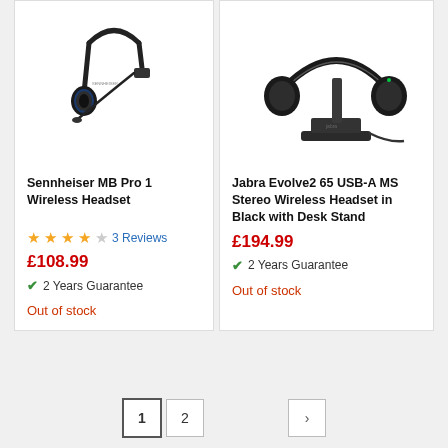[Figure (photo): Sennheiser MB Pro 1 wireless mono headset with boom microphone, shown against white background]
Sennheiser MB Pro 1 Wireless Headset
★★★★☆ 3 Reviews
£108.99
✓ 2 Years Guarantee
Out of stock
[Figure (photo): Jabra Evolve2 65 stereo wireless headset in black sitting on a desk stand, with USB-A cable visible]
Jabra Evolve2 65 USB-A MS Stereo Wireless Headset in Black with Desk Stand
£194.99
✓ 2 Years Guarantee
Out of stock
1  2  >